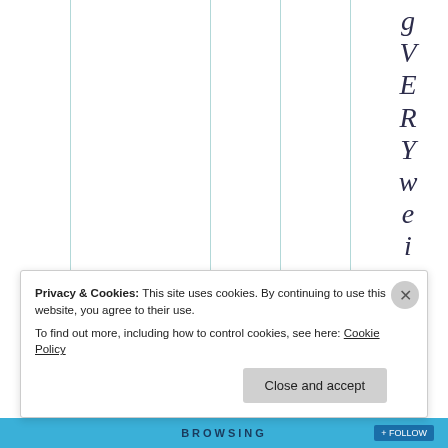[Figure (other): A page background with vertical teal/mint column divider lines and large vertically-stacked letters on the right side spelling 'gVERYweird!' in serif italic font]
Privacy & Cookies: This site uses cookies. By continuing to use this website, you agree to their use.
To find out more, including how to control cookies, see here: Cookie Policy
Close and accept
BROWSING